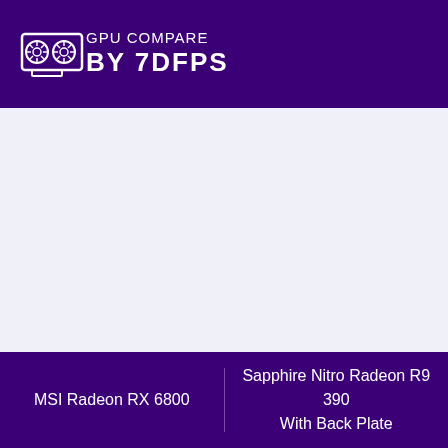GPU COMPARE BY 7DFPS
[Figure (illustration): Main content area — light lavender/grey background, empty]
MSI Radeon RX 6800 | Sapphire Nitro Radeon R9 390 With Back Plate